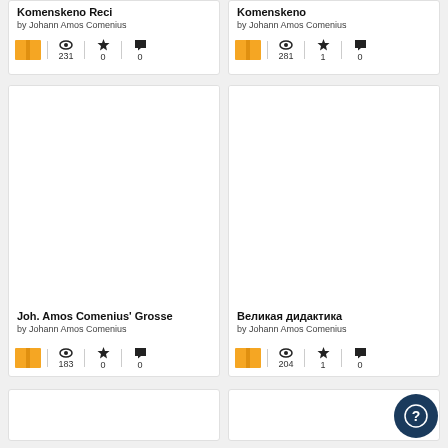Komenskeno Reci by Johann Amos Comenius | views: 231, stars: 0, comments: 0
Komenskeno by Johann Amos Comenius | views: 281, stars: 1, comments: 0
Joh. Amos Comenius' Grosse by Johann Amos Comenius | views: 183, stars: 0, comments: 0
Великая дидактика by Johann Amos Comenius | views: 204, stars: 1, comments: 0